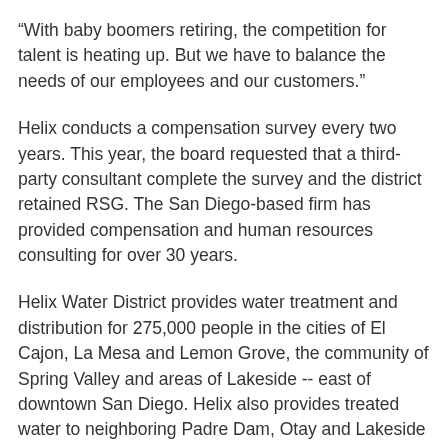“With baby boomers retiring, the competition for talent is heating up. But we have to balance the needs of our employees and our customers.”
Helix conducts a compensation survey every two years. This year, the board requested that a third-party consultant complete the survey and the district retained RSG. The San Diego-based firm has provided compensation and human resources consulting for over 30 years.
Helix Water District provides water treatment and distribution for 275,000 people in the cities of El Cajon, La Mesa and Lemon Grove, the community of Spring Valley and areas of Lakeside -- east of downtown San Diego. Helix also provides treated water to neighboring Padre Dam, Otay and Lakeside water districts.